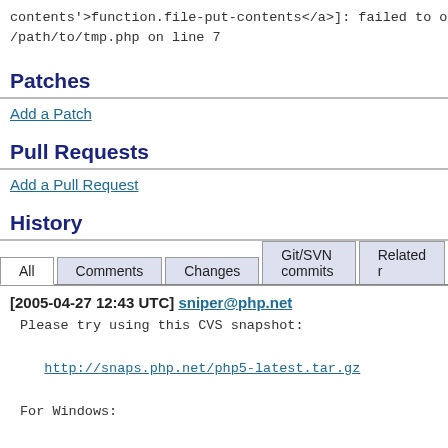contents'>function.file-put-contents</a>]: failed to ope /path/to/tmp.php on line 7
Patches
Add a Patch
Pull Requests
Add a Pull Request
History
All | Comments | Changes | Git/SVN commits | Related r
[2005-04-27 12:43 UTC] sniper@php.net
Please try using this CVS snapshot:

http://snaps.php.net/php5-latest.tar.gz

For Windows: